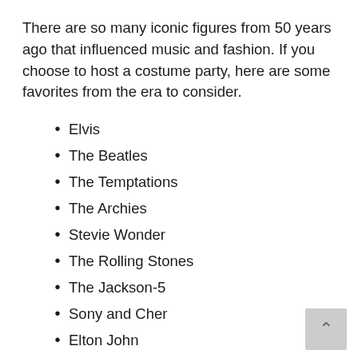There are so many iconic figures from 50 years ago that influenced music and fashion. If you choose to host a costume party, here are some favorites from the era to consider.
Elvis
The Beatles
The Temptations
The Archies
Stevie Wonder
The Rolling Stones
The Jackson-5
Sony and Cher
Elton John
CCR
Walt Disney
John Travolta
Evel Knievel
Clint Eastwood (partially visible)